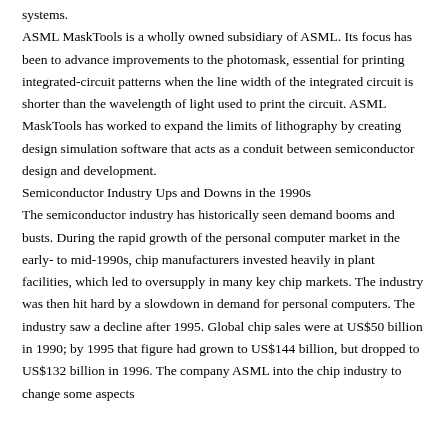systems.
ASML MaskTools is a wholly owned subsidiary of ASML. Its focus has been to advance improvements to the photomask, essential for printing integrated-circuit patterns when the line width of the integrated circuit is shorter than the wavelength of light used to print the circuit. ASML MaskTools has worked to expand the limits of lithography by creating design simulation software that acts as a conduit between semiconductor design and development.
Semiconductor Industry Ups and Downs in the 1990s
The semiconductor industry has historically seen demand booms and busts. During the rapid growth of the personal computer market in the early- to mid-1990s, chip manufacturers invested heavily in plant facilities, which led to oversupply in many key chip markets. The industry was then hit hard by a slowdown in demand for personal computers. The industry saw a decline after 1995. Global chip sales were at US$50 billion in 1990; by 1995 that figure had grown to US$144 billion, but dropped to US$132 billion in 1996. The company ASML into the chip industry...